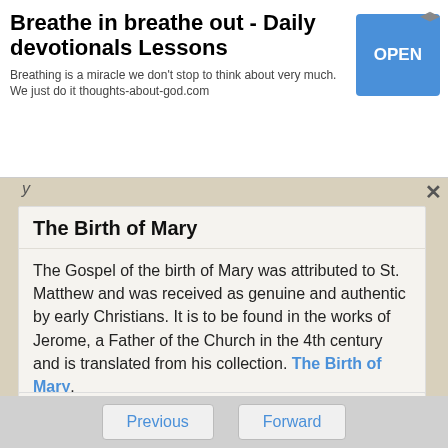[Figure (screenshot): Advertisement banner: 'Breathe in breathe out - Daily devotionals Lessons' with OPEN button. Text: Breathing is a miracle we don't stop to think about very much. We just do it thoughts-about-god.com]
The Birth of Mary
The Gospel of the birth of Mary was attributed to St. Matthew and was received as genuine and authentic by early Christians. It is to be found in the works of Jerome, a Father of the Church in the 4th century and is translated from his collection. The Birth of Mary.
The Book of Enoch
The Book of Enoch is ascribed to the great-
Previous
Forward